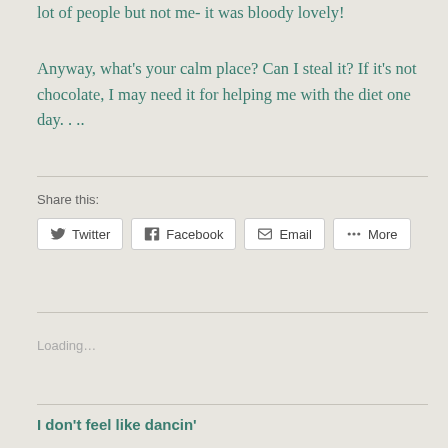lot of people but not me- it was bloody lovely!
Anyway, what's your calm place? Can I steal it? If it's not chocolate, I may need it for helping me with the diet one day. . ..
Share this:
Twitter  Facebook  Email  More
Loading...
I don't feel like dancin'